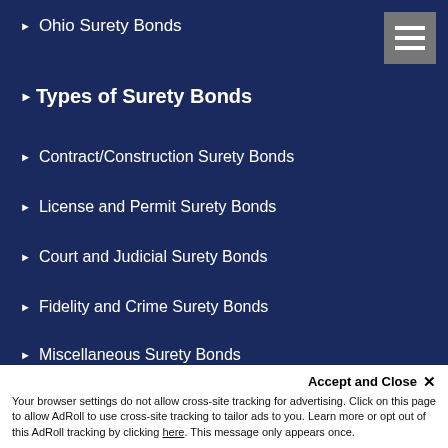Ohio Surety Bonds
Types of Surety Bonds
Contract/Construction Surety Bonds
License and Permit Surety Bonds
Court and Judicial Surety Bonds
Fidelity and Crime Surety Bonds
Miscellaneous Surety Bonds
Surety Bond Resources
[Figure (logo): SuretyBonds.com logo with bonded seal badge on dark blue background]
Accept and Close ✕
Your browser settings do not allow cross-site tracking for advertising. Click on this page to allow AdRoll to use cross-site tracking to tailor ads to you. Learn more or opt out of this AdRoll tracking by clicking here. This message only appears once.